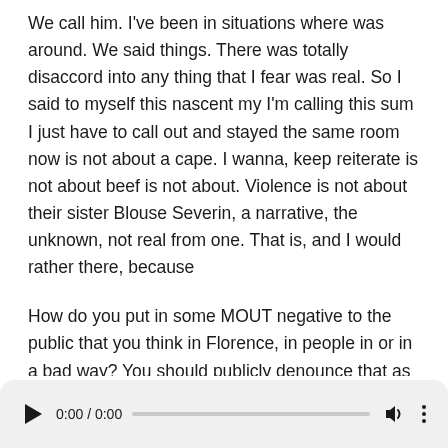We call him. I've been in situations where was around. We said things. There was totally disaccord into any thing that I fear was real. So I said to myself this nascent my I'm calling this sum I just have to call out and stayed the same room now is not about a cape. I wanna, keep reiterate is not about beef is not about. Violence is not about their sister Blouse Severin, a narrative, the unknown, not real from one. That is, and I would rather there, because
How do you put in some MOUT negative to the public that you think in Florence, in people in or in a bad way? You should publicly denounce that as he put into the public yourself, And like any like, he deemed me something this is and remains an outer hidden. Probably this is certain you